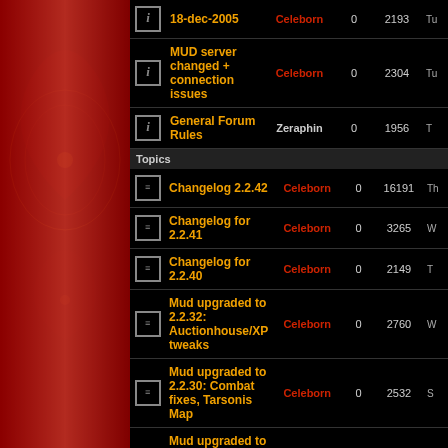|  | Topic | Author | Replies | Views | Last |
| --- | --- | --- | --- | --- | --- |
| i | 18-dec-2005 | Celeborn | 0 | 2193 | Tu |
| i | MUD server changed + connection issues | Celeborn | 0 | 2304 | Tu |
| i | General Forum Rules | Zeraphin | 0 | 1956 | T |
|  | Topics |  |  |  |  |
| ≡ | Changelog 2.2.42 | Celeborn | 0 | 16191 | Th |
| ≡ | Changelog for 2.2.41 | Celeborn | 0 | 3265 | W |
| ≡ | Changelog for 2.2.40 | Celeborn | 0 | 2149 | T |
| ≡ | Mud upgraded to 2.2.32: Auctionhouse/XP tweaks | Celeborn | 0 | 2760 | W |
| ≡ | Mud upgraded to 2.2.30: Combat fixes, Tarsonis Map | Celeborn | 0 | 2532 | S |
| ≡ | Mud upgraded to 2.2.29: Craftsmanship Highscore, Raffle | Celeborn | 0 | 2341 | F |